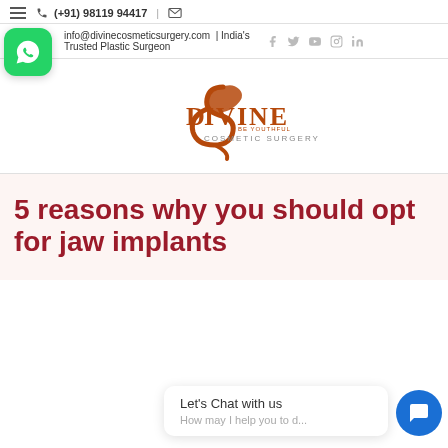(+91) 98119 94417 | info@divinecosmeticsurgery.com | India's Trusted Plastic Surgeon
[Figure (logo): Divine Cosmetic Surgery logo with stylized 'D' and tagline 'BE YOUTHFUL COSMETIC SURGERY']
5 reasons why you should opt for jaw implants
Let's Chat with us
How may I help you to d...